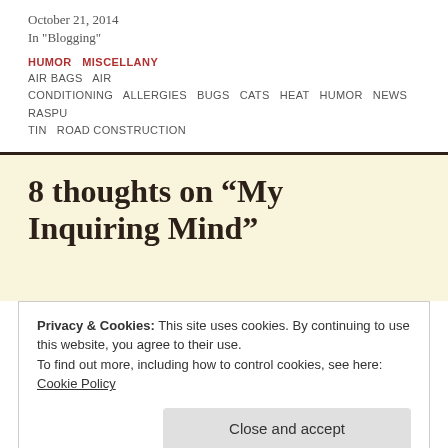October 21, 2014
In "Blogging"
HUMOR   MISCELLANY
AIR BAGS  AIR CONDITIONING  ALLERGIES  BUGS  CATS  HEAT  HUMOR  NEWS  RASPUTIN  ROAD CONSTRUCTION
8 thoughts on “My Inquiring Mind”
Privacy & Cookies: This site uses cookies. By continuing to use this website, you agree to their use.
To find out more, including how to control cookies, see here:
Cookie Policy
Close and accept